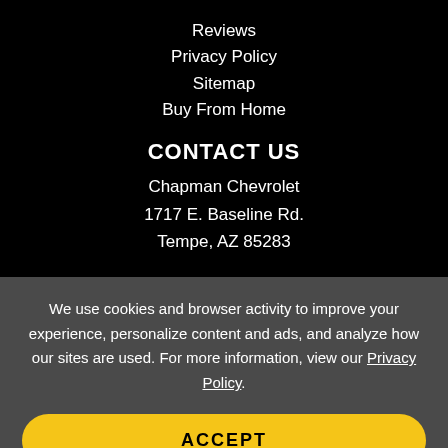Reviews
Privacy Policy
Sitemap
Buy From Home
CONTACT US
Chapman Chevrolet
1717 E. Baseline Rd.
Tempe, AZ 85283
We use cookies and browser activity to improve your experience, personalize content and ads, and analyze how our sites are used. For more information, view our Privacy Policy.
ACCEPT